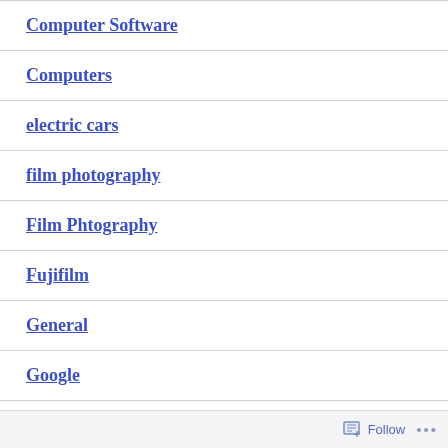Computer Software
Computers
electric cars
film photography
Film Phtography
Fujifilm
General
Google
Follow ...